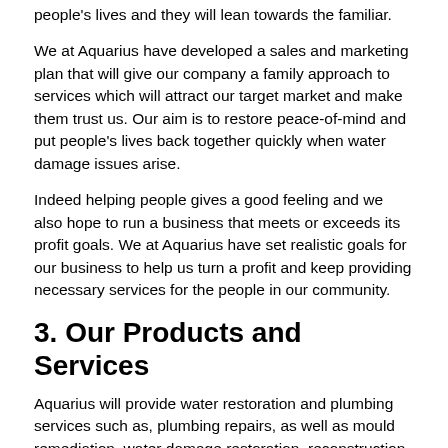people's lives and they will lean towards the familiar.
We at Aquarius have developed a sales and marketing plan that will give our company a family approach to services which will attract our target market and make them trust us. Our aim is to restore peace-of-mind and put people's lives back together quickly when water damage issues arise.
Indeed helping people gives a good feeling and we also hope to run a business that meets or exceeds its profit goals. We at Aquarius have set realistic goals for our business to help us turn a profit and keep providing necessary services for the people in our community.
3. Our Products and Services
Aquarius will provide water restoration and plumbing services such as, plumbing repairs, as well as mould remediation, water damage restoration, reconstruction and bio hazard material removal. We believe that our services promote a healthier workplace and living environment, thus promoting better general health. We will also offer the finest in residential home plumbing construction.